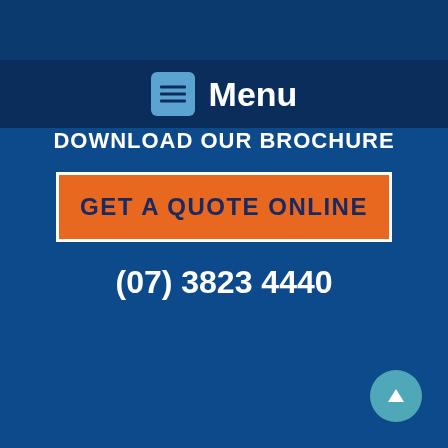Menu
DOWNLOAD OUR BROCHURE
GET A QUOTE ONLINE
(07) 3823 4440